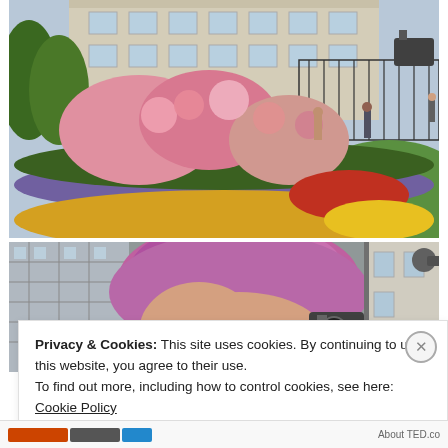[Figure (photo): Colorful flower garden with pink, purple, yellow, and red flowers in front of a grand stone building with iron gates. People visible near the gate.]
[Figure (photo): Partial selfie of a person with pink/purple hair holding a camera, taken indoors near a glass structure.]
Privacy & Cookies: This site uses cookies. By continuing to use this website, you agree to their use.
To find out more, including how to control cookies, see here: Cookie Policy
Close and accept